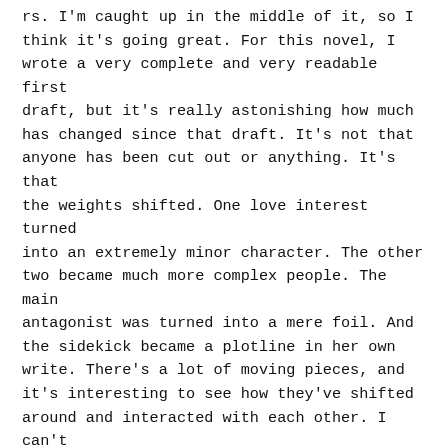rs. I'm caught up in the middle of it, so I think it's going great. For this novel, I wrote a very complete and very readable first draft, but it's really astonishing how much has changed since that draft. It's not that anyone has been cut out or anything. It's that the weights shifted. One love interest turned into an extremely minor character. The other two became much more complex people. The main antagonist was turned into a mere foil. And the sidekick became a plotline in her own write. There's a lot of moving pieces, and it's interesting to see how they've shifted around and interacted with each other. I can't believe that this book is actually going to come out and be on shelves for you to read. I'm very excited for that.